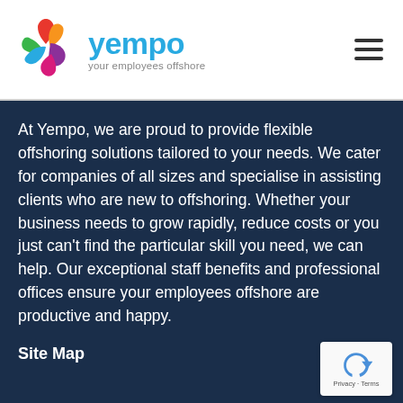[Figure (logo): Yempo logo: colorful pinwheel/flower with red, orange, green, blue, purple arrow-like petals, next to 'yempo' in blue text and tagline 'your employees offshore' in grey]
[Figure (other): Hamburger menu icon: three horizontal dark bars stacked]
At Yempo, we are proud to provide flexible offshoring solutions tailored to your needs. We cater for companies of all sizes and specialise in assisting clients who are new to offshoring. Whether your business needs to grow rapidly, reduce costs or you just can't find the particular skill you need, we can help. Our exceptional staff benefits and professional offices ensure your employees offshore are productive and happy.
Site Map
[Figure (other): Google reCAPTCHA badge with blue reCAPTCHA logo and 'Privacy · Terms' text]